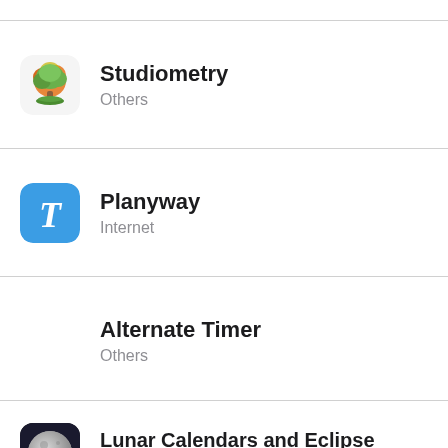Studiometry
Others
Planyway
Internet
Alternate Timer
Others
Lunar Calendars and Eclipse Finder